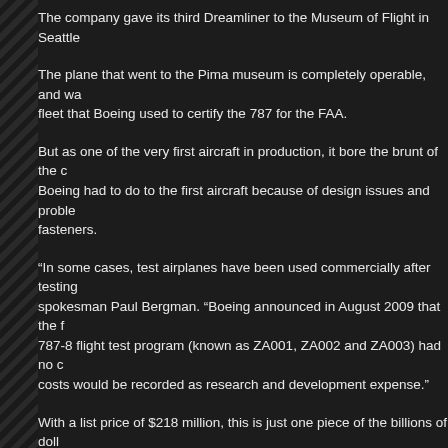The company gave its third Dreamliner to the Museum of Flight in Seattle
The plane that went to the Pima museum is completely operable, and was part of the fleet that Boeing used to certify the 787 for the FAA.
But as one of the very first aircraft in production, it bore the brunt of the changes Boeing had to do to the first aircraft because of design issues and problems with fasteners.
“In some cases, test airplanes have been used commercially after testing,” said Boeing spokesman Paul Bergman. “Boeing announced in August 2009 that the first three 787-8 flight test program (known as ZA001, ZA002 and ZA003) had no commercial value, costs would be recorded as research and development expense.”
With a list price of $218 million, this is just one piece of the billions of dollars Boeing incurred as it worked to get 787 production under control.
Seattle-area aerospace analyst Michel Merluzeau, of Frost and Sullivan, called ZA002 a “prototype aircraft.”
‘“That’s the nature of flight testing,” he said. “You find things, and that’s th
The Dreamliner is painted in All Nippon Airways colors, which Boeing Vice President Randy Tinseth, in a 2009 blog post, called a “tribute” to the model’s Japanese la